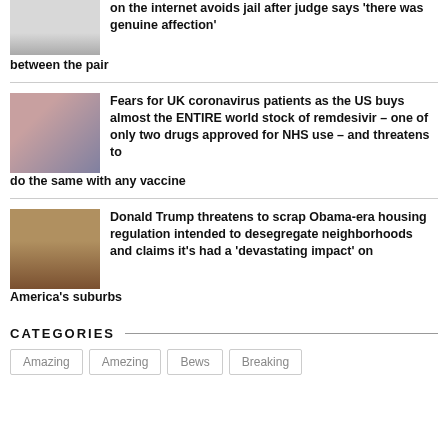on the internet avoids jail after judge says 'there was genuine affection' between the pair
Fears for UK coronavirus patients as the US buys almost the ENTIRE world stock of remdesivir – one of only two drugs approved for NHS use – and threatens to do the same with any vaccine
Donald Trump threatens to scrap Obama-era housing regulation intended to desegregate neighborhoods and claims it's had a 'devastating impact' on America's suburbs
CATEGORIES
Amazing
Amezing
Bews
Breaking